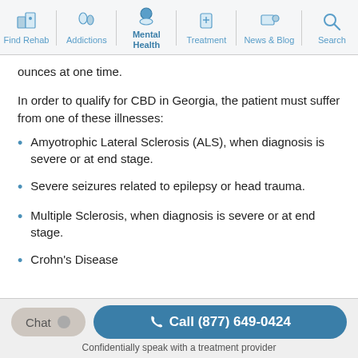Find Rehab | Addictions | Mental Health | Treatment | News & Blog | Search
ounces at one time.
In order to qualify for CBD in Georgia, the patient must suffer from one of these illnesses:
Amyotrophic Lateral Sclerosis (ALS), when diagnosis is severe or at end stage.
Severe seizures related to epilepsy or head trauma.
Multiple Sclerosis, when diagnosis is severe or at end stage.
Crohn's Disease
Chat  Call (877) 649-0424  Confidentially speak with a treatment provider